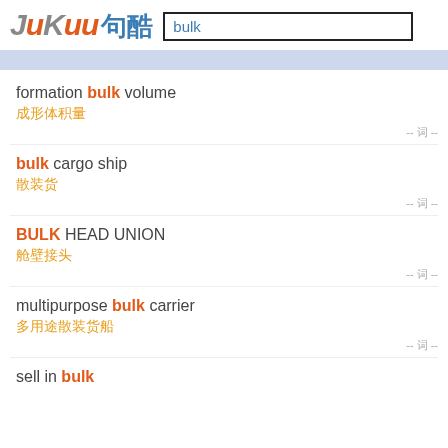[Figure (logo): JuKuu sentence search website logo with stylized italic text 'JuKuu' in orange/grey and Chinese characters '句酷' in blue]
bulk (search input)
formation bulk volume / 成形体积量
bulk cargo ship / 散装货
BULK HEAD UNION / 舱壁接头
multipurpose bulk carrier / 多用途散装货船
sell in bulk